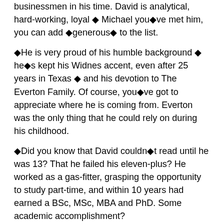businessmen in his time.  David is analytical, hard-working, loyal ◆ Michael you◆ve met him, you can add ◆generous◆ to the list.
◆He is very proud of his humble background ◆ he◆s kept his Widnes accent, even after 25 years in Texas ◆ and his devotion to The Everton Family.  Of course, you◆ve got to appreciate where he is coming from.  Everton was the only thing that he could rely on during his childhood.
◆Did you know that David couldn◆t read until he was 13?  That he failed his eleven-plus?  He worked as a gas-fitter, grasping the opportunity to study part-time, and within 10 years had earned a BSc, MSc, MBA and PhD.  Some academic accomplishment?
◆It◆s the same with everything that he tackles, he does it to the best of his ability.  He genuinely believes in the Everton motto ◆ that only the best is good enough.  I digress◆
◆Anyway, very few people know about the other David France collection of medals.  He was awarded the prestigious Joule Medal for his work on the hydrogen